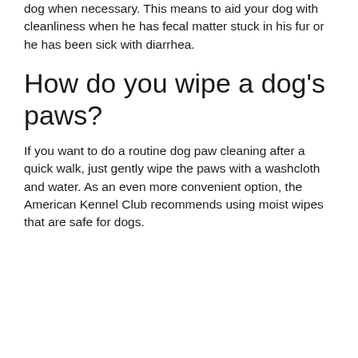dog when necessary. This means to aid your dog with cleanliness when he has fecal matter stuck in his fur or he has been sick with diarrhea.
How do you wipe a dog’s paws?
If you want to do a routine dog paw cleaning after a quick walk, just gently wipe the paws with a washcloth and water. As an even more convenient option, the American Kennel Club recommends using moist wipes that are safe for dogs.